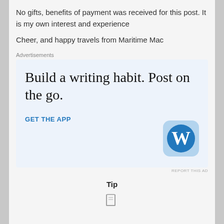No gifts, benefits of payment was received for this post.  It is my own interest and experience
Cheer, and happy travels from Maritime Mac
Advertisements
[Figure (screenshot): WordPress app advertisement: 'Build a writing habit. Post on the go.' with GET THE APP CTA and WordPress logo]
REPORT THIS AD
Tip